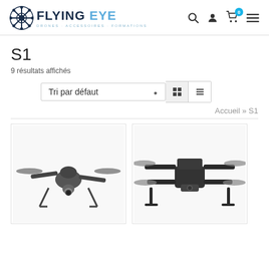FLYING EYE - DRONES · ACCESSOIRES · FORMATIONS
S1
9 résultats affichés
Tri par défaut
Accueil » S1
[Figure (photo): Front view of a DJI Inspire 2 drone in dark grey, with folded landing gear and gimbal camera visible]
[Figure (photo): Front view of a DJI Matrice 200 series quadcopter drone in dark grey/black with extended landing gear]